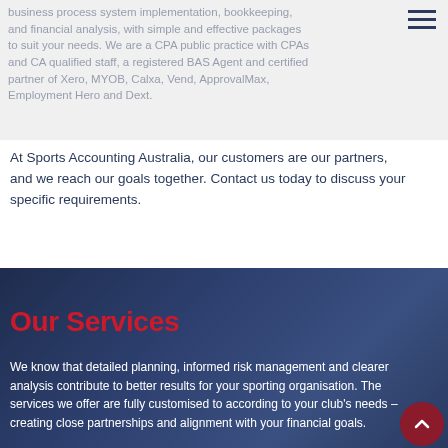business process system implementation, bookkeeping, and financial analysis, with simple and effective packages to suit your needs. We are a CPA public practice with CPAs and CA qualified staff, a registered BAS Agent and certified partner of Xero, MYOB, Calxa, Vend, ApprovalMax, Employment Hero and Dext.
At Sports Accounting Australia, our customers are our partners, and we reach our goals together. Contact us today to discuss your specific requirements.
Our Services
We know that detailed planning, informed risk management and clearer analysis contribute to better results for your sporting organisation. The services we offer are fully customised to according to your club's needs – creating close partnerships and alignment with your financial goals.